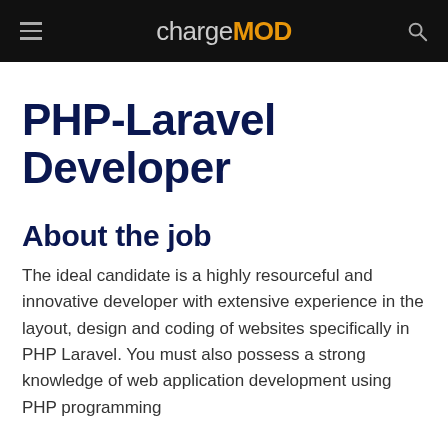chargeMOD
PHP-Laravel Developer
About the job
The ideal candidate is a highly resourceful and innovative developer with extensive experience in the layout, design and coding of websites specifically in PHP Laravel. You must also possess a strong knowledge of web application development using PHP programming